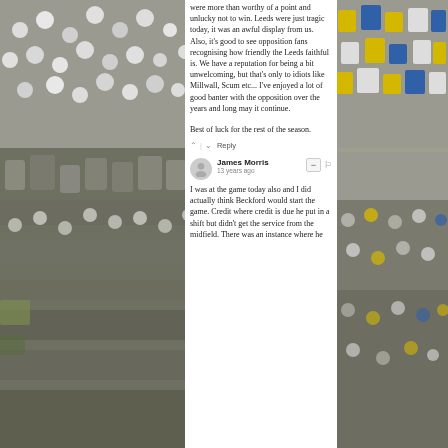[Figure (photo): Crowd of football fans wearing white shirts at a stadium, left panel]
were more than worthy of a point and unlucky not to win. Leeds were just tragic today, it was an awful display from us. Also, it's good to see opposition fans recognising how friendly the Leeds faithful is. We have a reputation for being a bit unwelcoming, but that's only to idiots like Millwall, Scum etc... I've enjoyed a lot of good banter with the opposition over the years and long may it continue.

Best of luck for the rest of the season.
↑ | ↓   Reply
James Morris
13 years ago
I was at the game today also and I did actually think Beckford would start the game. Credit where credit is due he put in a shift but didn't get the service from the midfield. There was an instance where he
[Figure (photo): Crowd of football fans in blue and yellow at a stadium, right panel]